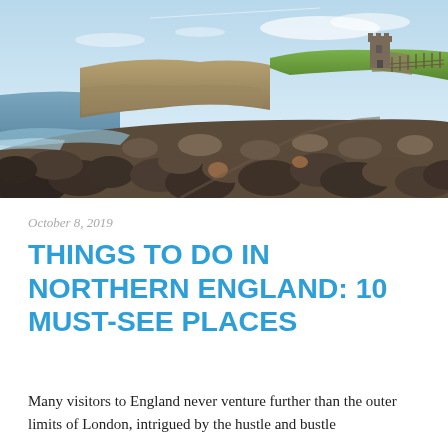[Figure (photo): Coastal rocky beach scene with large boulders in the foreground, sea on the left, dramatic cliffs in the background, and a medieval castle tower on the top right of the cliffs under a blue sky with wispy clouds.]
October 8, 2019
THINGS TO DO IN NORTHERN ENGLAND: 10 MUST-SEE PLACES
Many visitors to England never venture further than the outer limits of London, intrigued by the hustle and bustle